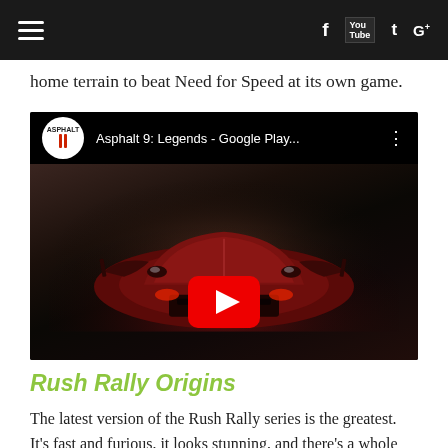≡  f  [YouTube]  𝐭  G+
home terrain to beat Need for Speed at its own game.
[Figure (screenshot): YouTube video embed thumbnail for Asphalt 9: Legends - Google Play..., showing rear view of a red sports car with a large YouTube play button overlay. Asphalt logo shown in top-left of video bar.]
Rush Rally Origins
The latest version of the Rush Rally series is the greatest. It's fast and furious, it looks stunning, and there's a whole raft